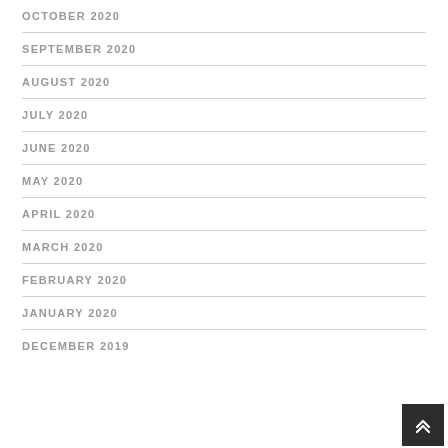OCTOBER 2020
SEPTEMBER 2020
AUGUST 2020
JULY 2020
JUNE 2020
MAY 2020
APRIL 2020
MARCH 2020
FEBRUARY 2020
JANUARY 2020
DECEMBER 2019